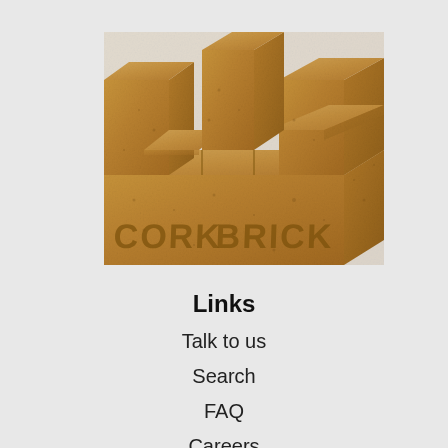[Figure (logo): 3D cork brick castle/tower logo with text 'CORK BRICK' embossed on the front face]
Links
Talk to us
Search
FAQ
Careers